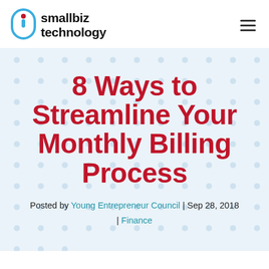smallbiz technology
8 Ways to Streamline Your Monthly Billing Process
Posted by Young Entrepreneur Council | Sep 28, 2018 | Finance